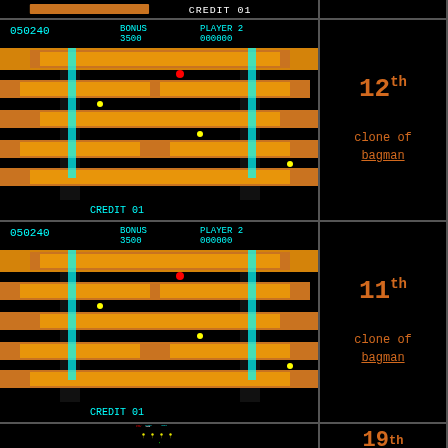[Figure (screenshot): Top strip: partial arcade game screenshot with orange bar and CREDIT 01 text]
[Figure (screenshot): Bagman arcade game screenshot, row 1, showing mine shaft levels in orange/black with BONUS 3500 PLAYER 2 000000 score display]
12th clone of bagman
Bagman (Stern Electronics, revision A5) (bagmans)
Damon (@)
TG [advertised 2054 is prol… http://forums.marpi…
[Figure (screenshot): Bagman arcade game screenshot, row 2, showing mine shaft levels in orange/black with BONUS 3500 PLAYER 2 000000 score display]
11th clone of bagman
Bagman (Stern Electronics, revision A4) (bagmans4)
Damon (@)
[Figure (screenshot): Balloon Bomber arcade game screenshot showing yellow balloon figures on black background with score display]
19th
Balloon Bomber (ballbomb)
Damon (@)